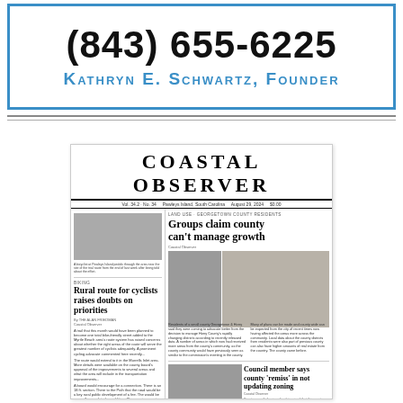(843) 655-6225
Kathryn E. Schwartz, Founder
[Figure (screenshot): Coastal Observer newspaper front page thumbnail showing headlines: 'Groups claim county can't manage growth', 'Rural route for cyclists raises doubts on priorities', 'Council member says county 'remiss' in not updating zoning', 'They grow up so fast – charter marks its first decade']